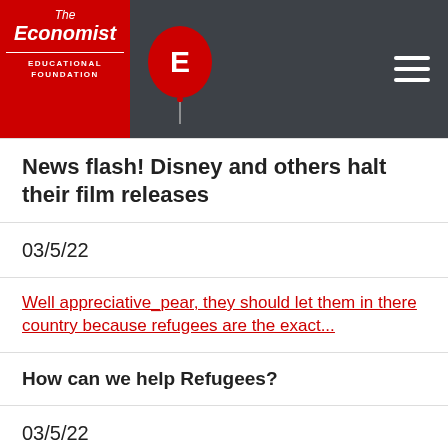The Economist Educational Foundation
News flash! Disney and others halt their film releases
03/5/22
Well appreciative_pear, they should let them in there country because refugees are the exact...
How can we help Refugees?
03/5/22
I feel like girls and boys can like anything that